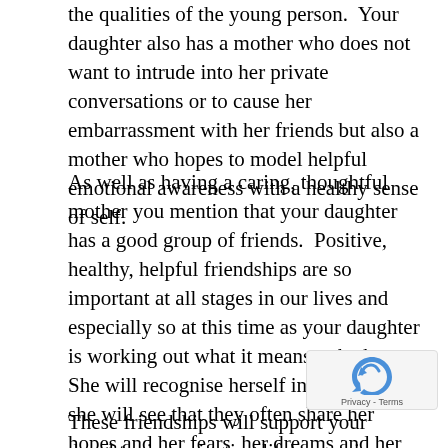the qualities of the young person.  Your daughter also has a mother who does not want to intrude into her private conversations or to cause her embarrassment with her friends but also a mother who hopes to model helpful emotional awareness with a healthy sense of self.
As well as having a caring, thoughtful mother you mention that your daughter has a good group of friends.  Positive, healthy, helpful friendships are so important at all stages in our lives and especially so at this time as your daughter is working out what it means to be her.  She will recognise herself in her friends, she will see that they often share her hopes and her fears, her dreams and her anxieties and this will support her in a sense of community as well as in a sense of herself.
These friendships will support your daughter in navigating life's experiences with the benefit of the